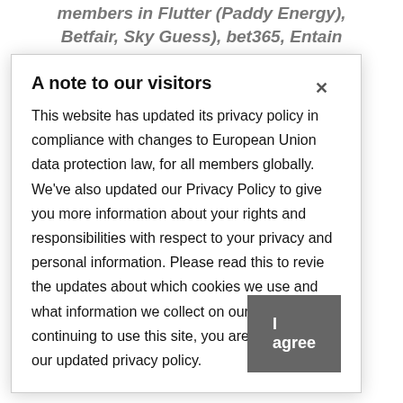members in Flutter (Paddy Energy), Betfair, Sky Guess), bet365, Entain (Ladbrokes, Coral), William Hill, 888, BetVictor, Kindred (Unibet), Betway, Rank Group (Grosvenor Sport), Virgin Guess, Tote, Fitzculres and Guess with Ascot.
A note to our visitors
This website has updated its privacy policy in compliance with changes to European Union data protection law, for all members globally. We've also updated our Privacy Policy to give you more information about your rights and responsibilities with respect to your privacy and personal information. Please read this to review the updates about which cookies we use and what information we collect on our site. By continuing to use this site, you are agreeing to our updated privacy policy.
BGC members have now raised £ 5.5 million for charity for the reason that group was fashioned in November 2019 by way of the Britannia Stakes and digital Grand Nationwide.
Talking on behalf of BGC's charity recipients, Caroline Graham Director of Fundraising at Sue Ryder, added: "We're more than happy to have benefited from the Britannia Stakes